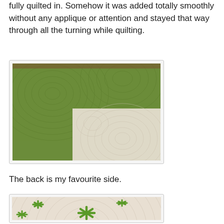fully quilted in. Somehow it was added totally smoothly without any applique or attention and stayed that way through all the turning while quilting.
[Figure (photo): Close-up photo of a green and white quilt showing concentric circular quilting pattern on the green fabric and a lighter colored square section with similar circular quilting.]
The back is my favourite side.
[Figure (photo): Close-up photo of the back of a quilt showing white/cream circular quilting pattern with green cross/asterisk shapes appliqued on the surface.]